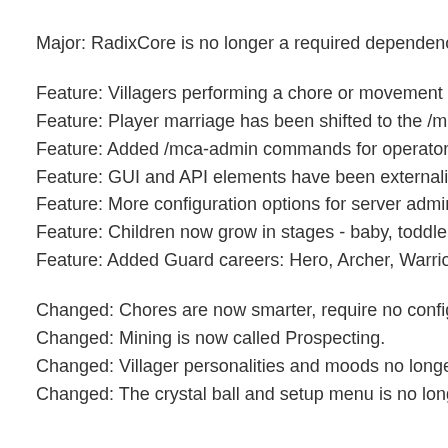Major: RadixCore is no longer a required dependency.
Feature: Villagers performing a chore or movement act
Feature: Player marriage has been shifted to the /mca
Feature: Added /mca-admin commands for operators
Feature: GUI and API elements have been externalized
Feature: More configuration options for server administ
Feature: Children now grow in stages - baby, toddler, ch
Feature: Added Guard careers: Hero, Archer, Warrior.
Changed: Chores are now smarter, require no configura
Changed: Mining is now called Prospecting.
Changed: Villager personalities and moods no longer a
Changed: The crystal ball and setup menu is no longer n